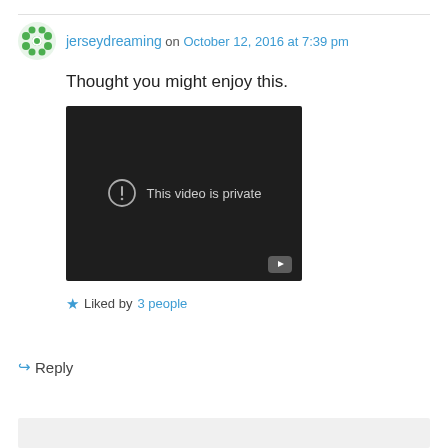jerseydreaming on October 12, 2016 at 7:39 pm
Thought you might enjoy this.
[Figure (screenshot): Embedded YouTube video player showing 'This video is private' error message on dark background]
Liked by 3 people
Reply